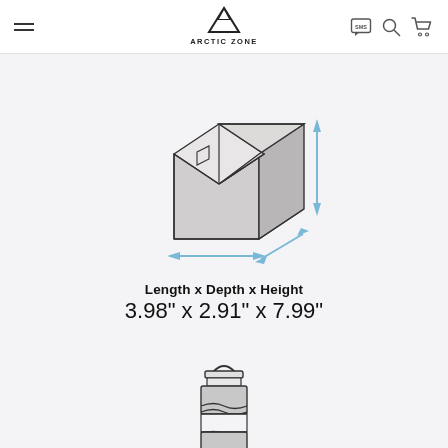Arctic Zone — navigation header with hamburger menu, logo, SMS icon, search icon, cart icon
[Figure (illustration): Isometric line drawing of a cardboard shipping box with light blue double-headed arrows indicating Length (horizontal front), Depth (diagonal), and Height (vertical right side)]
Length x Depth x Height
3.98" x 2.91" x 7.99"
[Figure (illustration): Line drawing of an insulated bottle/tumbler product (Arctic Zone drinkware) shown from the front, partially cropped at bottom]